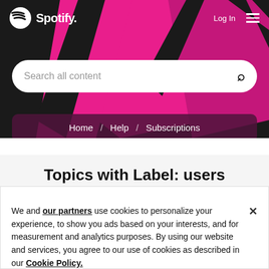[Figure (screenshot): Spotify website header with pink and black diagonal graphic design, navigation bar with Spotify logo, Log In link, hamburger menu, search bar reading 'Search all content', breadcrumb navigation showing 'Home / Help / Subscriptions']
Topics with Label: users
We and our partners use cookies to personalize your experience, to show you ads based on your interests, and for measurement and analytics purposes. By using our website and services, you agree to our use of cookies as described in our Cookie Policy.